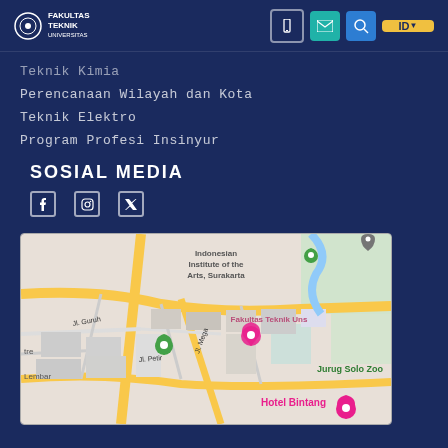Fakultas Teknik
Teknik Kimia
Perencanaan Wilayah dan Kota
Teknik Elektro
Program Profesi Insinyur
SOSIAL MEDIA
[Figure (map): Google Map showing Fakultas Teknik UNS area with Indonesian Institute of the Arts Surakarta, Jl. Guru, Jl. Petir, Jl. Mega, Hotel Bintang, Jurug Solo Zoo markers visible]